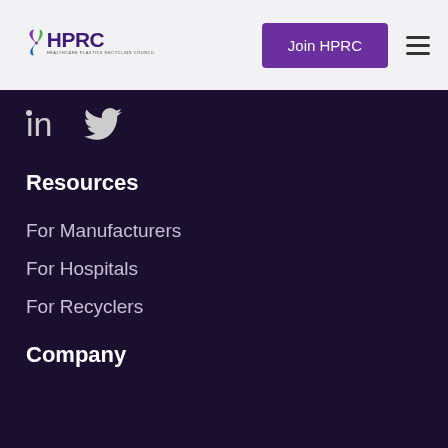[Figure (logo): HPRC logo - Healthcare Plastics Recycling Council with leaf/recycling icon]
Join HPRC
[Figure (other): Hamburger menu icon (three horizontal lines)]
[Figure (other): LinkedIn and Twitter social media icons]
Resources
For Manufacturers
For Hospitals
For Recyclers
Company